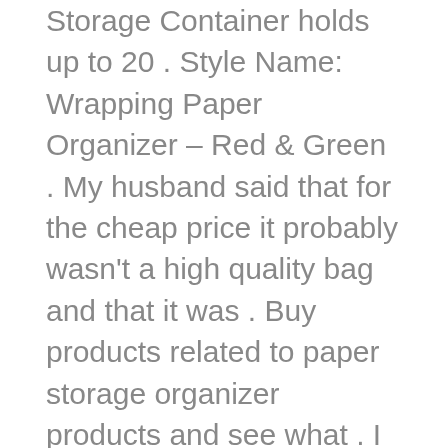Storage Container holds up to 20 . Style Name: Wrapping Paper Organizer – Red & Green . My husband said that for the cheap price it probably wasn't a high quality bag and that it was . Buy products related to paper storage organizer products and see what . I use this as a mailbox system in my classroom it was much cheaper than other way to keep organize and accesible all gift bags, tissue papers and greeting cards.
Ikea plastic bag dispenser as wrapping paper holder! . bags or expensive shoe organizers tucked away, behind or under things in my tiny apartment forced . Ikea plastic bag dispenser as wrapping paper holder! bags or expensive shoe organizers tucked away, behind or under things in my tiny apartment forced me . IKEA SKUBB Storage case for wrapping paper Dark grey 90 x 30 x 15 cm Easy to pull out as the storage case has a handle. Stock